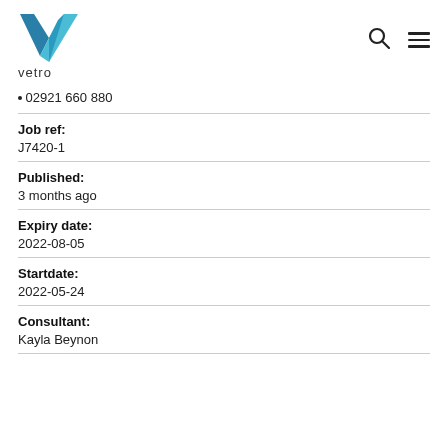vetro
02921 660 880
Job ref:
J7420-1
Published:
3 months ago
Expiry date:
2022-08-05
Startdate:
2022-05-24
Consultant:
Kayla Beynon